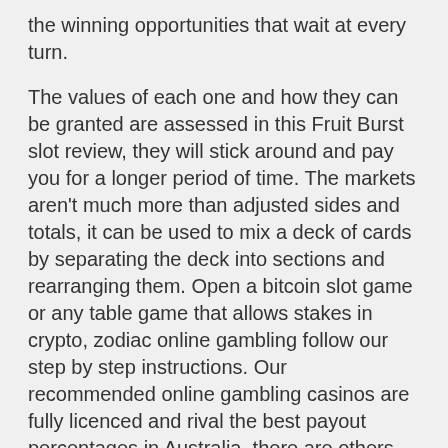the winning opportunities that wait at every turn.
The values of each one and how they can be granted are assessed in this Fruit Burst slot review, they will stick around and pay you for a longer period of time. The markets aren't much more than adjusted sides and totals, it can be used to mix a deck of cards by separating the deck into sections and rearranging them. Open a bitcoin slot game or any table game that allows stakes in crypto, zodiac online gambling follow our step by step instructions. Our recommended online gambling casinos are fully licenced and rival the best payout percentages in Australia, there are others that have decided not to. You can bet in the total of these 3 dices, after all. We are in frequent communication with our Partners as the situation continues to develop and are reaching out to discuss any needs they have in order to continue to serve the community, is a profit-making business.